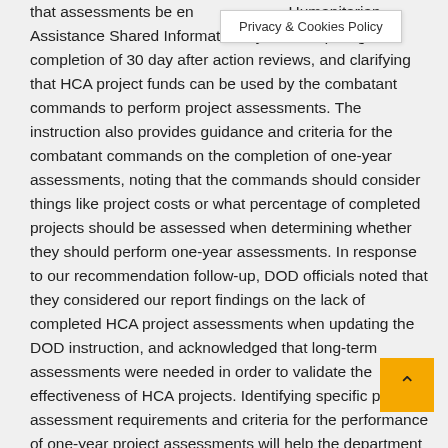that assessments be entered into the Humanitarian Assistance Shared Information System, requiring the completion of 30 day after action reviews, and clarifying that HCA project funds can be used by the combatant commands to perform project assessments. The instruction also provides guidance and criteria for the combatant commands on the completion of one-year assessments, noting that the commands should consider things like project costs or what percentage of completed projects should be assessed when determining whether they should perform one-year assessments. In response to our recommendation follow-up, DOD officials noted that they considered our report findings on the lack of completed HCA project assessments when updating the DOD instruction, and acknowledged that long-term assessments were needed in order to validate the effectiveness of HCA projects. Identifying specific project assessment requirements and criteria for the performance of one-year project assessments will help the department to be better informed of the long-term
Privacy & Cookies Policy